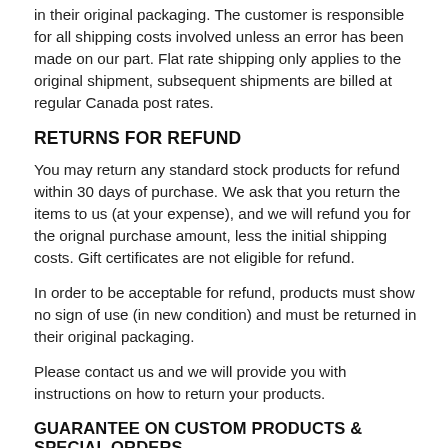in their original packaging. The customer is responsible for all shipping costs involved unless an error has been made on our part. Flat rate shipping only applies to the original shipment, subsequent shipments are billed at regular Canada post rates.
RETURNS FOR REFUND
You may return any standard stock products for refund within 30 days of purchase. We ask that you return the items to us (at your expense), and we will refund you for the orignal purchase amount, less the initial shipping costs. Gift certificates are not eligible for refund.
In order to be acceptable for refund, products must show no sign of use (in new condition) and must be returned in their original packaging.
Please contact us and we will provide you with instructions on how to return your products.
GUARANTEE ON CUSTOM PRODUCTS & SPECIAL ORDERS
Delivery time is approximately 4-6 weeks. These items are built on request or brought in especially for the customer, and are therefore